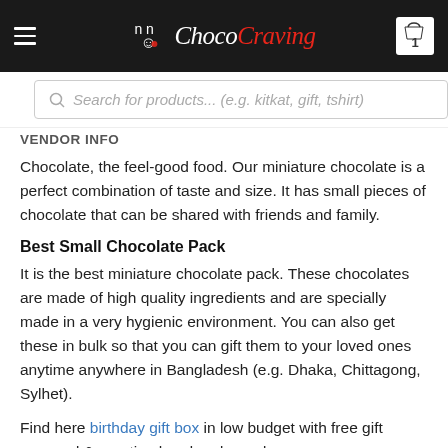ChocoCraving navigation bar with logo, hamburger menu, and cart
Search for products... (e.g. kitkat, gift, tshirt)
VENDOR INFO
Chocolate, the feel-good food. Our miniature chocolate is a perfect combination of taste and size. It has small pieces of chocolate that can be shared with friends and family.
Best Small Chocolate Pack
It is the best miniature chocolate pack. These chocolates are made of high quality ingredients and are specially made in a very hygienic environment. You can also get these in bulk so that you can gift them to your loved ones anytime anywhere in Bangladesh (e.g. Dhaka, Chittagong, Sylhet).
Find here birthday gift box in low budget with free gift wrapped & greeting handmade card.